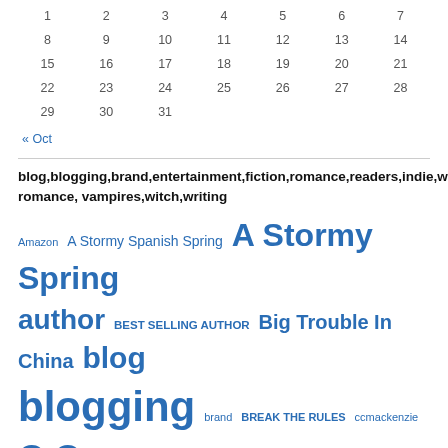| 1 | 2 | 3 | 4 | 5 | 6 | 7 |
| 8 | 9 | 10 | 11 | 12 | 13 | 14 |
| 15 | 16 | 17 | 18 | 19 | 20 | 21 |
| 22 | 23 | 24 | 25 | 26 | 27 | 28 |
| 29 | 30 | 31 |  |  |  |  |
« Oct
blog,blogging,brand,entertainment,fiction,romance,readers,indie,writer,author,fantasy,contemporary romance, vampires,witch,writing
Amazon A Stormy Spanish Spring A Stormy Spring author BEST SELLING AUTHOR Big Trouble In China blog blogging brand BREAK THE RULES ccmackenzie C C MacKenzie cc mackenzie